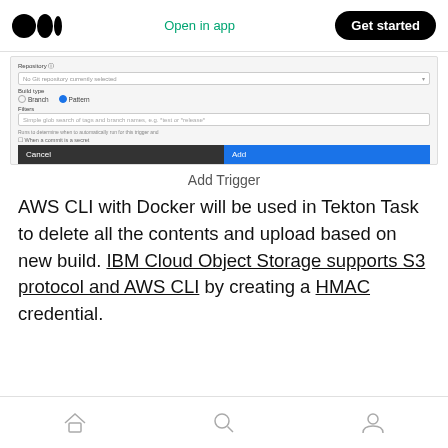Medium logo | Open in app | Get started
[Figure (screenshot): UI screenshot showing a trigger configuration form with Repository field (No Git repository currently selected), Build type radio buttons (Branch selected: Platform), Filters input (Simple glob search of tags and branch names), Cancel and Add buttons]
Add Trigger
AWS CLI with Docker will be used in Tekton Task to delete all the contents and upload based on new build. IBM Cloud Object Storage supports S3 protocol and AWS CLI by creating a HMAC credential.
Home | Search | Profile navigation icons